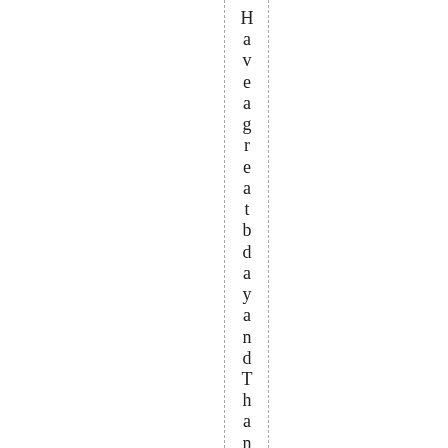Have a great bday and Thanksgiving